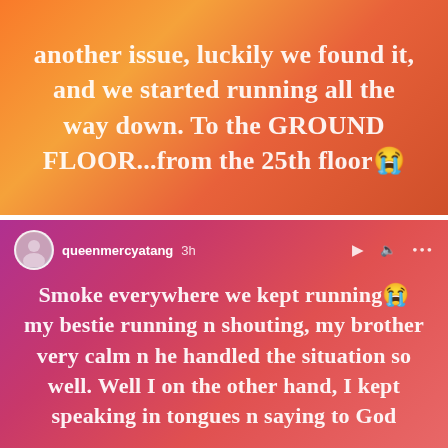another issue, luckily we found it, and we started running all the way down. To the GROUND FLOOR...from the 25th floor😭
queenmercyatang  3h
Smoke everywhere we kept running😭 my bestie running n shouting, my brother very calm n he handled the situation so well. Well I on the other hand, I kept speaking in tongues n saying to God